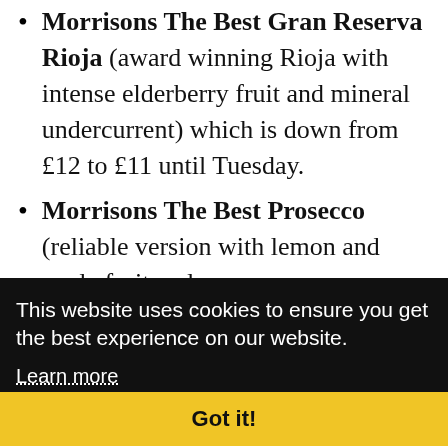Morrisons The Best Gran Reserva Rioja (award winning Rioja with intense elderberry fruit and mineral undercurrent) which is down from £12 to £11 until Tuesday.
Morrisons The Best Prosecco (reliable version with lemon and apple fruit and a
This website uses cookies to ensure you get the best experience on our website.
Learn more
Got it!
harvest will hearten many about quality and